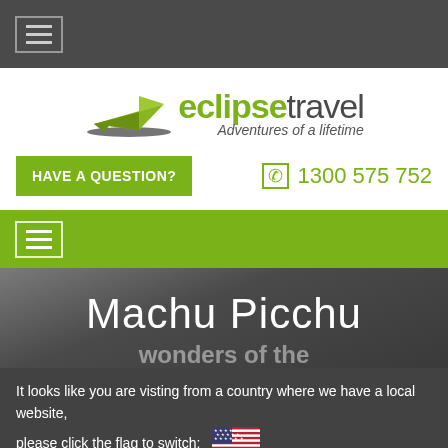[Figure (screenshot): Dark gray top navigation bar with hamburger menu icon in bordered box]
[Figure (logo): Eclipse Travel logo with green paper plane icon, 'eclipse' in green bold text, 'travel' in dark text, tagline 'Adventures of a lifetime' in italic]
HAVE A QUESTION?
1300 575 752
[Figure (screenshot): Green navigation bar with white hamburger menu icon in bordered box]
Machu Picchu
It looks like you are visting from a country where we have a local website, please click the flag to switch:
Closer to Home?